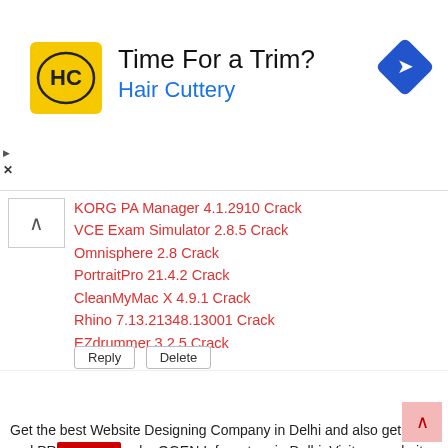[Figure (infographic): Advertisement banner for Hair Cuttery with yellow logo, text 'Time For a Trim?' and 'Hair Cuttery' in blue, blue diamond arrow icon on right, play and close buttons on left]
KORG PA Manager 4.1.2910 Crack
VCE Exam Simulator 2.8.5 Crack
Omnisphere 2.8 Crack
PortraitPro 21.4.2 Crack
CleanMyMac X 4.9.1 Crack
Rhino 7.13.21348.13001 Crack
EZdrummer 3.2.5 Crack
Reply   Delete
PANKAJ OGENINFO
December 30, 2021 at 9:19 AM
Get the best Website Designing Company in Delhi and also get SEO and PR[CLOSE]es by OGEN Infosystem in Delhi. Visit our website for more information about our services.
Website Designing Company in Delhi
Reply   Delete